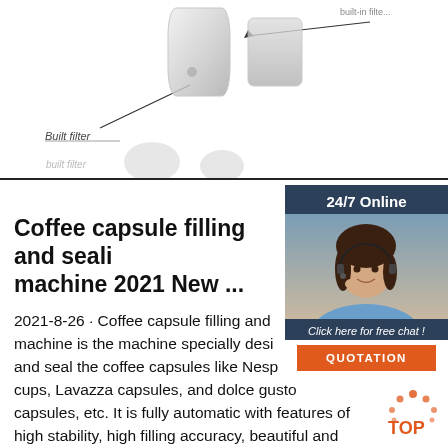[Figure (photo): Product images of coffee capsule filters at top of page — two capsule shapes visible with 'Built filter' label below them, and a second row of filter images below the divider line]
[Figure (photo): 24/7 Online chat widget showing a female customer service agent with headset, 'Click here for free chat!' text, and a QUOTATION button, on a dark blue background]
Coffee capsule filling and sealing machine 2021 New ...
2021-8-26 · Coffee capsule filling and sealing machine is the machine specially designed to fill and seal the coffee capsules like Nespresso cups, Lavazza capsules, and dolce gusto capsules, etc. It is fully automatic with features of high stability, high filling accuracy, beautiful and tight seal, strong nitrogen gas protection.
[Figure (logo): TOP logo — orange dots arranged in circle pattern with orange text 'TOP' below]